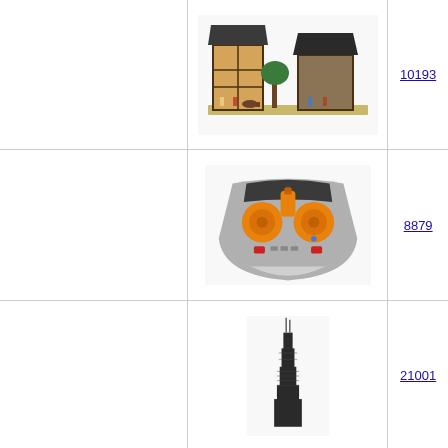[Figure (photo): LEGO Medieval Market Village set 10193 showing multiple medieval-style buildings with figures and animals]
10193
[Figure (photo): LEGO Power Functions IR Speed Remote Control set 8879, gray controller with orange dials and red buttons]
8879
[Figure (photo): LEGO Architecture Willis Tower set 21001, tall skyscraper model with antenna]
21001